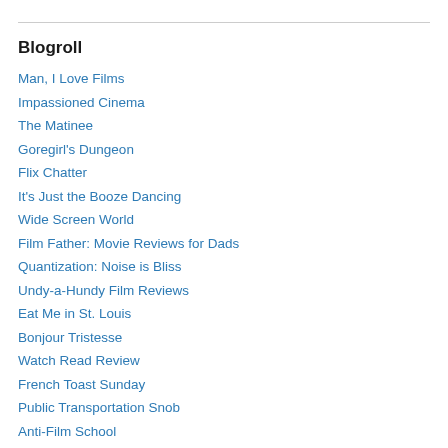Blogroll
Man, I Love Films
Impassioned Cinema
The Matinee
Goregirl's Dungeon
Flix Chatter
It's Just the Booze Dancing
Wide Screen World
Film Father: Movie Reviews for Dads
Quantization: Noise is Bliss
Undy-a-Hundy Film Reviews
Eat Me in St. Louis
Bonjour Tristesse
Watch Read Review
French Toast Sunday
Public Transportation Snob
Anti-Film School